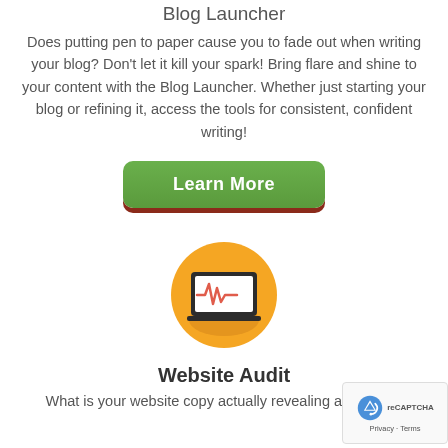Blog Launcher
Does putting pen to paper cause you to fade out when writing your blog? Don’t let it kill your spark! Bring flare and shine to your content with the Blog Launcher. Whether just starting your blog or refining it, access the tools for consistent, confident writing!
[Figure (other): Green 'Learn More' button with dark red shadow]
[Figure (illustration): Orange circle icon containing a laptop with a heartbeat/pulse line graph on the screen]
Website Audit
What is your website copy actually revealing about your